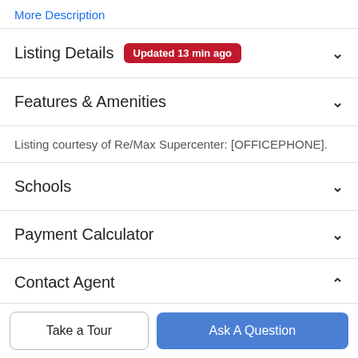More Description
Listing Details Updated 13 min ago
Features & Amenities
Listing courtesy of Re/Max Supercenter: [OFFICEPHONE].
Schools
Payment Calculator
Contact Agent
Take a Tour
Ask A Question